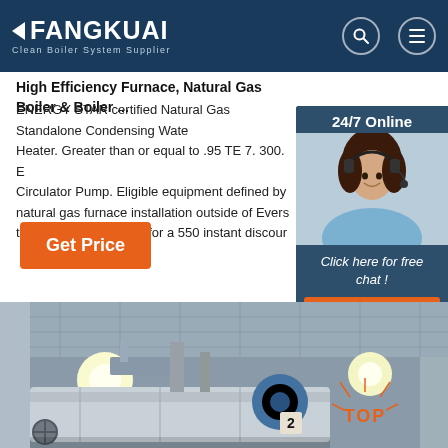FANGKUAI Clean Boiler System Supplier
High Efficiency Furnace, Natural Gas Boiler & Boiler ...
ENERGY STAR certified Natural Gas Standalone Condensing Water Heater. Greater than or equal to .95 TE 7. 300. ENERGY STAR Circulator Pump. Eligible equipment defined by natural gas furnace installation outside of Evers territory is only eligible for a 550 instant discount
Get Price
[Figure (photo): Customer service representative with headset, '24/7 Online' chat widget with 'Click here for free chat!' and 'QUOTATION' button]
[Figure (photo): Industrial boiler/furnace equipment in a facility, showing large cylindrical boiler components, pipes, bright light sources, and the number 2 marked on equipment]